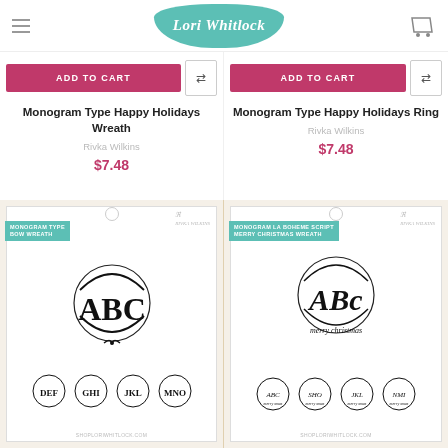Lori Whitlock
ADD TO CART
Monogram Type Happy Holidays Wreath
Rivka Wilkins
$7.48
ADD TO CART
Monogram Type Happy Holidays Ring
Rivka Wilkins
$7.48
[Figure (illustration): Monogram Type Bow Wreath product packaging showing ABC monogram letters surrounded by a laurel wreath with a bow, plus smaller examples DEF, GHI, JKL, MNO]
[Figure (illustration): Monogram La Boheme Script Merry Christmas Wreath product packaging showing decorative script ABC monogram with wreath and 'merry christmas' text, plus smaller examples]